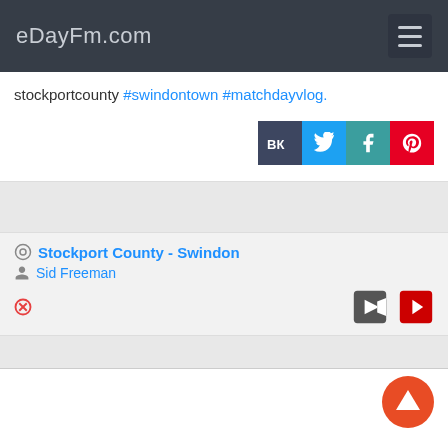eDayFm.com
stockportcounty #swindontown #matchdayvlog.
[Figure (screenshot): Social share buttons: VK (dark), Twitter (blue), Facebook (teal), Pinterest (red)]
Stockport County - Swindon
Sid Freeman
[Figure (screenshot): Action icons: red X close button, video camera icon, YouTube red button]